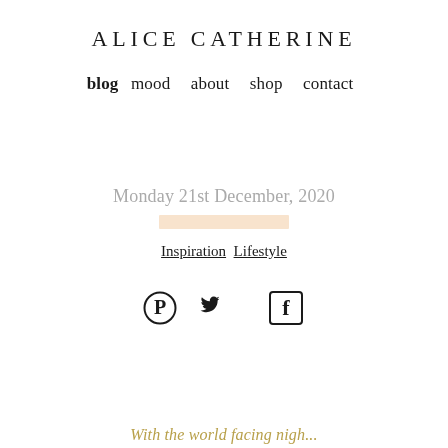ALICE CATHERINE
blog  mood  about  shop  contact
Monday 21st December, 2020
Inspiration  Lifestyle
[Figure (other): Social media icons: Pinterest, Twitter, Facebook]
With the world facing nigh...